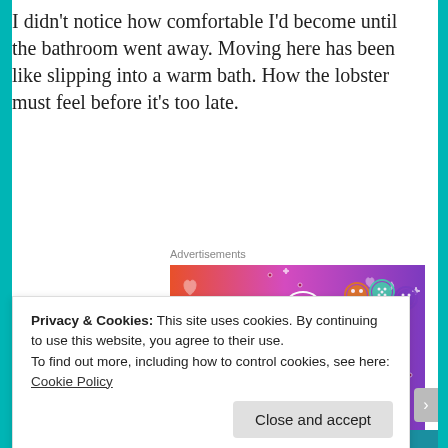I didn't notice how comfortable I'd become until the bathroom went away. Moving here has been like slipping into a warm bath. How the lobster must feel before it's too late.
Advertisements
[Figure (illustration): Colorful Tumblr 'Fandom on Tumblr' advertisement banner with orange-to-purple gradient background, white illustrated icons (skull, hearts, music notes, dice, sailboat), and bold black text reading 'FANDOM ON tumblr'.]
Privacy & Cookies: This site uses cookies. By continuing to use this website, you agree to their use.
To find out more, including how to control cookies, see here: Cookie Policy